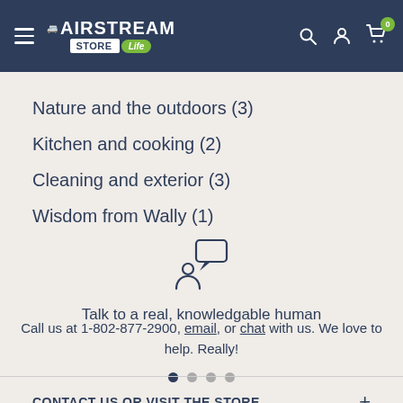Airstream Store Life — navigation header
Nature and the outdoors (3)
Kitchen and cooking (2)
Cleaning and exterior (3)
Wisdom from Wally (1)
[Figure (illustration): Customer support icon: person silhouette with speech bubble]
Talk to a real, knowledgable human
Call us at 1-802-877-2900, email, or chat with us. We love to help. Really!
CONTACT US OR VISIT THE STORE